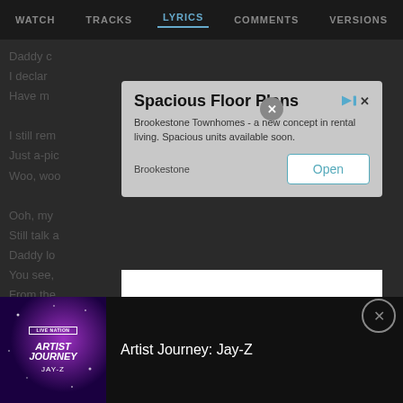WATCH   TRACKS   LYRICS   COMMENTS   VERSIONS
Daddy c
I declar
Have m

I still rem
Just a-pic
Woo, woo

Ooh, my
Still talk a
Daddy lo
You see,
From the
[Figure (screenshot): Advertisement overlay for Brookstone Townhomes with title 'Spacious Floor Plans', body text 'Brookstone Townhomes - a new concept in rental living. Spacious units available soon.', brand label 'Brookestone' and an Open button]
[Figure (screenshot): Apple Music player widget showing 'Play "Daddy Could S..."' with play button on left, speaker icon on right, subtitle 'on Apple Music']
[Figure (screenshot): Live Nation Artist Journey: Jay-Z promotional banner at bottom with album art showing 'ARTIST JOURNEY JAY-Z' text and purple gradient background]